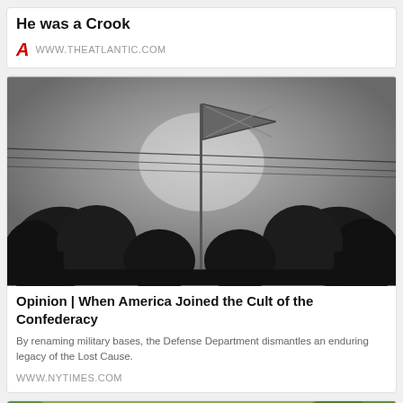He was a Crook
WWW.THEATLANTIC.COM
[Figure (photo): Black and white photograph of a Confederate flag on a tall flagpole against an overcast sky, with silhouetted bare trees in the background and power lines visible.]
Opinion | When America Joined the Cult of the Confederacy
By renaming military bases, the Defense Department dismantles an enduring legacy of the Lost Cause.
WWW.NYTIMES.COM
[Figure (photo): Aerial photograph showing flooded land with green trees and muddy brown water covering fields and vegetation.]